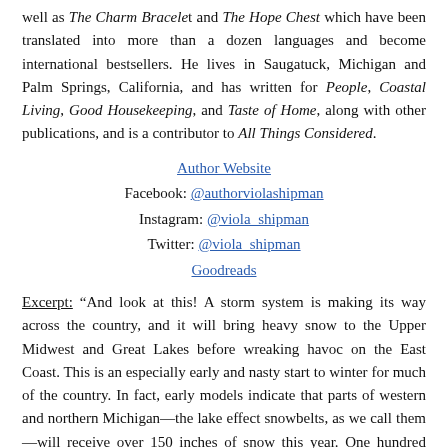well as The Charm Bracelet and The Hope Chest which have been translated into more than a dozen languages and become international bestsellers. He lives in Saugatuck, Michigan and Palm Springs, California, and has written for People, Coastal Living, Good Housekeeping, and Taste of Home, along with other publications, and is a contributor to All Things Considered.
Author Website
Facebook: @authorviolashipman
Instagram: @viola_shipman
Twitter: @viola_shipman
Goodreads
Excerpt: “And look at this! A storm system is making its way across the country, and it will bring heavy snow to the Upper Midwest and Great Lakes before wreaking havoc on the East Coast. This is an especially early and nasty start to winter for much of the country. In fact, early models indicate that parts of western and northern Michigan—the lake effect snowbelts, as we call them—will receive over 150 inches of snow this year. One hundred fifty inches!”